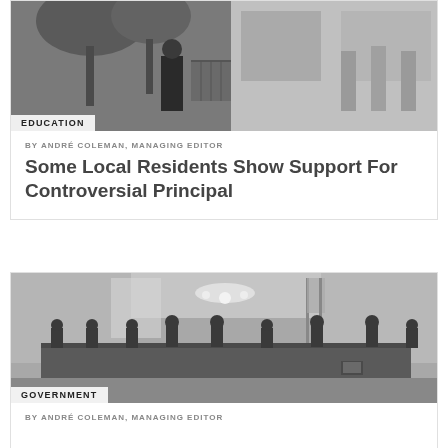[Figure (photo): Grayscale outdoor photo with a person and trees in background, labeled EDUCATION]
EDUCATION
BY ANDRÉ COLEMAN, MANAGING EDITOR
Some Local Residents Show Support For Controversial Principal
[Figure (photo): Grayscale photo of a government meeting room with people seated at a large table, labeled GOVERNMENT]
GOVERNMENT
BY ANDRÉ COLEMAN, MANAGING EDITOR